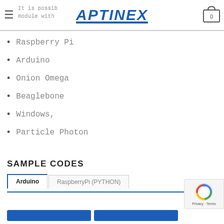Aptinex — navigation bar with logo and cart
It is possible to use the DAC module with...
Raspberry Pi
Arduino
Onion Omega
Beaglebone
Windows,
Particle Photon
SAMPLE CODES
Tabs: Arduino | RaspberryPi (PYTHON)